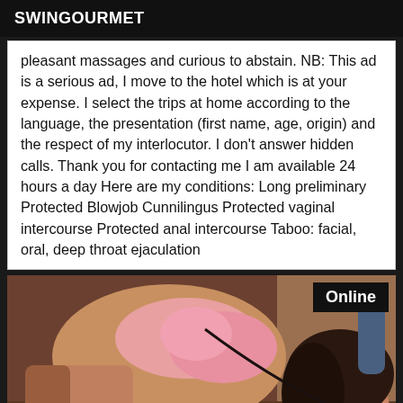SWINGOURMET
pleasant massages and curious to abstain. NB: This ad is a serious ad, I move to the hotel which is at your expense. I select the trips at home according to the language, the presentation (first name, age, origin) and the respect of my interlocutor. I don't answer hidden calls. Thank you for contacting me I am available 24 hours a day Here are my conditions: Long preliminary Protected Blowjob Cunnilingus Protected vaginal intercourse Protected anal intercourse Taboo: facial, oral, deep throat ejaculation
[Figure (photo): Woman posing, with Online badge overlay in top right corner]